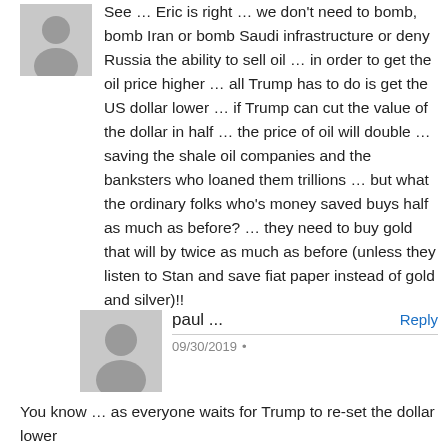See … Eric is right … we don't need to bomb, bomb Iran or bomb Saudi infrastructure or deny Russia the ability to sell oil … in order to get the oil price higher … all Trump has to do is get the US dollar lower … if Trump can cut the value of the dollar in half … the price of oil will double … saving the shale oil companies and the banksters who loaned them trillions … but what the ordinary folks who's money saved buys half as much as before? … they need to buy gold that will by twice as much as before (unless they listen to Stan and save fiat paper instead of gold and silver)!!
paul ...
09/30/2019
You know … as everyone waits for Trump to re-set the dollar lower